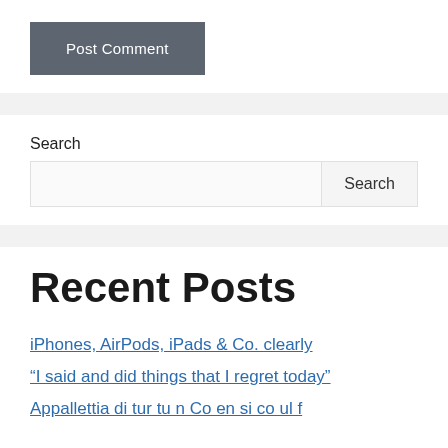Post Comment
Search
Recent Posts
iPhones, AirPods, iPads & Co. clearly
“I said and did things that I regret today”
Appallettia di tur tu n Co en si co ul f